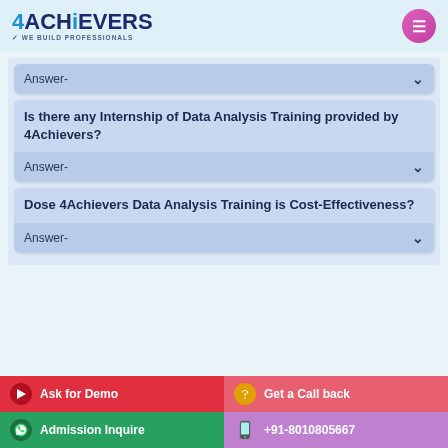[Figure (logo): 4Achievers logo with tagline 'We Build Professionals' and pink menu button]
Answer-
Is there any Internship of Data Analysis Training provided by 4Achievers?
Answer-
Dose 4Achievers Data Analysis Training is Cost-Effectiveness?
Answer-
Ask for Demo | Get a Call back | Admission Inquire | +91-8010805667